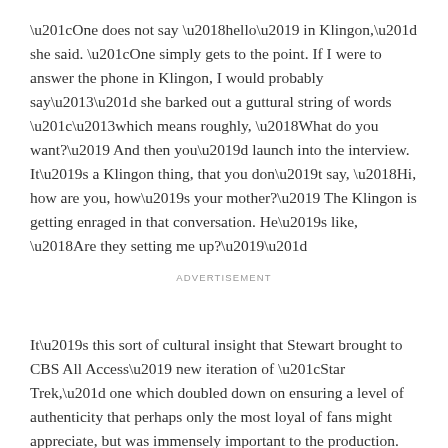“One does not say ‘hello’ in Klingon,” she said. “One simply gets to the point. If I were to answer the phone in Klingon, I would probably say–” she barked out a guttural string of words “–which means roughly, ‘What do you want?’ And then you’d launch into the interview. It’s a Klingon thing, that you don’t say, ‘Hi, how are you, how’s your mother?’ The Klingon is getting enraged in that conversation. He’s like, ‘Are they setting me up?’”
ADVERTISEMENT
It’s this sort of cultural insight that Stewart brought to CBS All Access’ new iteration of “Star Trek,” one which doubled down on ensuring a level of authenticity that perhaps only the most loyal of fans might appreciate, but was immensely important to the production.